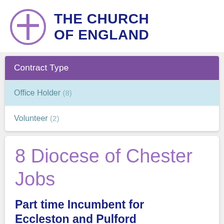[Figure (logo): Church of England logo: purple circle with cross symbol, next to bold dark blue text 'THE CHURCH OF ENGLAND']
Contract Type
Office Holder (8)
Volunteer (2)
8 Diocese of Chester Jobs
Part time Incumbent for Eccleston and Pulford
Posted 2 months ago    Expires in 25 days